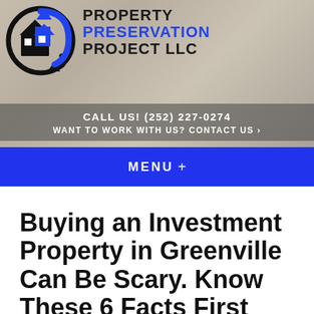[Figure (logo): Property Preservation Project LLC logo with house icon inside a circular arrow, and company name in bold black and blue text, over a blurred interior room background]
CALL US! (252) 227-0274
WANT TO WORK WITH US? CONTACT US ›
MENU +
Buying an Investment Property in Greenville Can Be Scary. Know These 6 Facts First